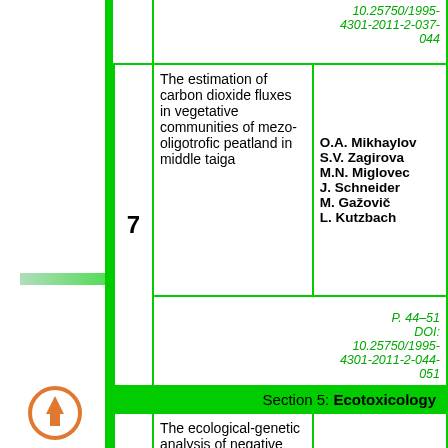| # | Title | Authors | Pages/DOI |
| --- | --- | --- | --- |
|  |  |  | 10.25750/1995-4301-2011-2-037-044 |
| 7 | The estimation of carbon dioxide fluxes in vegetative communities of mezo-oligotrofic peatland in middle taiga | O.A. Mikhaylov
S.V. Zagirova
M.N. Miglovec
J. Schneider
M. Gažovič
L. Kutzbach | P. 44–51
DOI:
10.25750/1995-4301-2011-2-044-051 |
| Section 5: | Ecotoxicology |  |  |
| 8 | The ecological-genetic analysis of negative influence of composite hydrocarbons in modeling | I.O. Sh... |  |